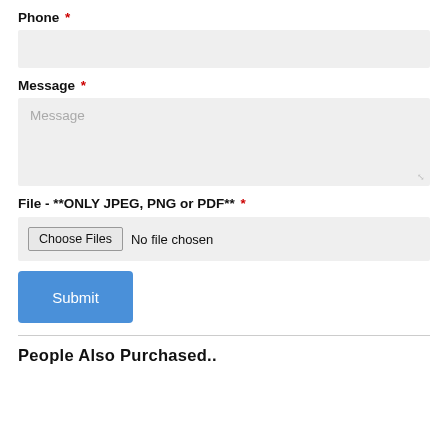Phone *
Message *
File - **ONLY JPEG, PNG or PDF** *
Choose Files   No file chosen
Submit
People Also Purchased..